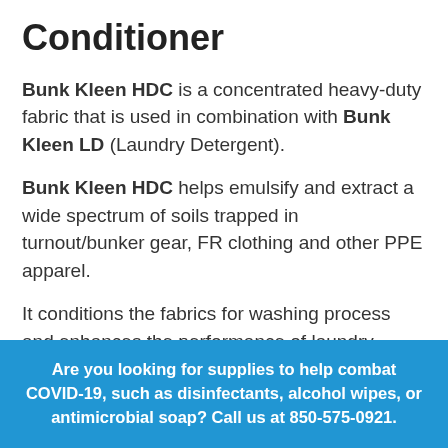Conditioner
Bunk Kleen HDC is a concentrated heavy-duty fabric that is used in combination with Bunk Kleen LD (Laundry Detergent).
Bunk Kleen HDC helps emulsify and extract a wide spectrum of soils trapped in turnout/bunker gear, FR clothing and other PPE apparel.
It conditions the fabrics for washing process and enhances the performance of laundry detergents. It is highly effective in binding
Are you looking for supplies to help combat COVID-19, such as disinfectants, alcohol wipes, or antimicrobial soap? Call us at 850-575-0921.